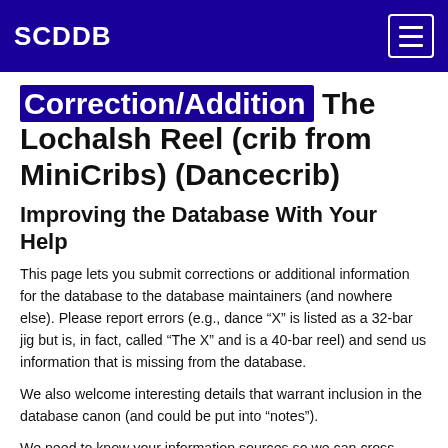SCDDB
Correction/Addition The Lochalsh Reel (crib from MiniCribs) (Dancecrib)
Improving the Database With Your Help
This page lets you submit corrections or additional information for the database to the database maintainers (and nowhere else). Please report errors (e.g., dance “X” is listed as a 32-bar jig but is, in fact, called “The X” and is a 40-bar reel) and send us information that is missing from the database.
We also welcome interesting details that warrant inclusion in the database canon (and could be put into “notes”).
We need to know your information sources so we can cross-check; unreferenced information is not very useful. Please try to